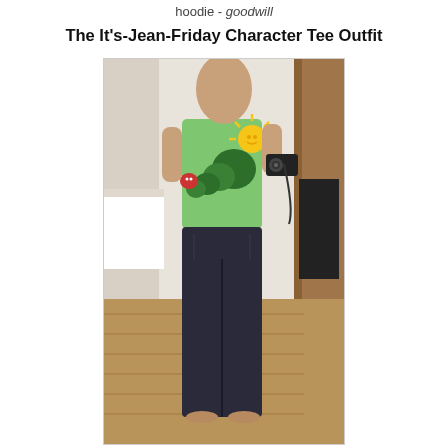hoodie - goodwill
The It's-Jean-Friday Character Tee Outfit
[Figure (photo): A person wearing a light green character tee shirt with a caterpillar/nature graphic and dark bootcut jeans, photographed in a mirror selfie in a bedroom. The person is holding a camera and is barefoot.]